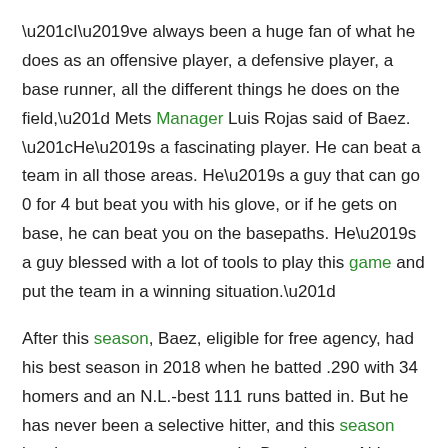“I’ve always been a huge fan of what he does as an offensive player, a defensive player, a base runner, all the different things he does on the field,” Mets Manager Luis Rojas said of Baez. “He’s a fascinating player. He can beat a team in all those areas. He’s a guy that can go 0 for 4 but beat you with his glove, or if he gets on base, he can beat you on the basepaths. He’s a guy blessed with a lot of tools to play this game and put the team in a winning situation.”
After this season, Baez, eligible for free agency, had his best season in 2018 when he batted .290 with 34 homers and an N.L.-best 111 runs batted in. But he has never been a selective hitter, and this season has been an extreme example: Baez has an N.L.-high 131 strikeouts and only 15 walks, with an on-base percentage of .292.